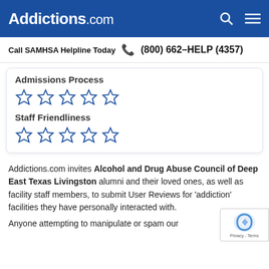Addictions.com
Call SAMHSA Helpline Today  (800) 662-HELP (4357)
Admissions Process
[Figure (other): 5 empty blue star ratings for Admissions Process]
Staff Friendliness
[Figure (other): 5 empty blue star ratings for Staff Friendliness]
Addictions.com invites Alcohol and Drug Abuse Council of Deep East Texas Livingston alumni and their loved ones, as well as facility staff members, to submit User Reviews for 'addiction' facilities they have personally interacted with.
Anyone attempting to manipulate or spam our...